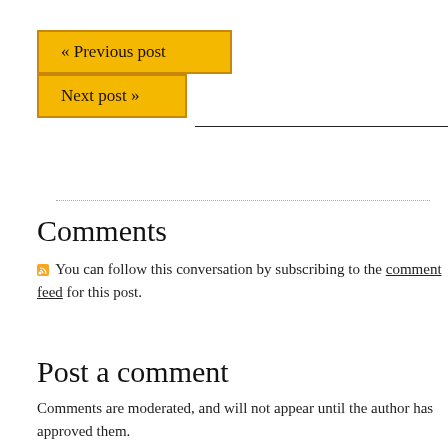« Previous post
Next post »
Comments
You can follow this conversation by subscribing to the comment feed for this post.
Post a comment
Comments are moderated, and will not appear until the author has approved them.